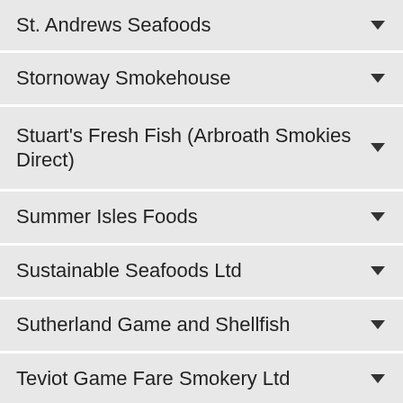St. Andrews Seafoods
Stornoway Smokehouse
Stuart's Fresh Fish (Arbroath Smokies Direct)
Summer Isles Foods
Sustainable Seafoods Ltd
Sutherland Game and Shellfish
Teviot Game Fare Smokery Ltd